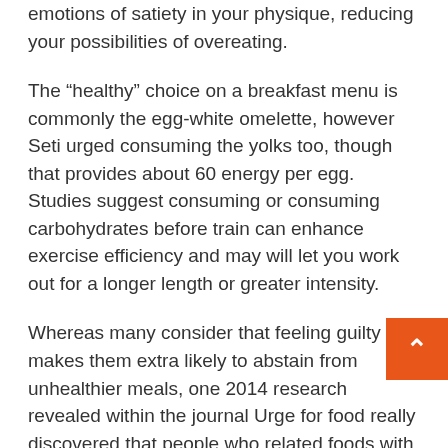emotions of satiety in your physique, reducing your possibilities of overeating.
The “healthy” choice on a breakfast menu is commonly the egg-white omelette, however Seti urged consuming the yolks too, though that provides about 60 energy per egg. Studies suggest consuming or consuming carbohydrates before train can enhance exercise efficiency and may will let you work out for a longer length or greater intensity.
Whereas many consider that feeling guilty makes them extra likely to abstain from unhealthier meals, one 2014 research revealed within the journal Urge for food really discovered that people who related foods with guilt had less success losing weight over a 3-mon interval than those who looked at sweets and treats as celebratory meals.